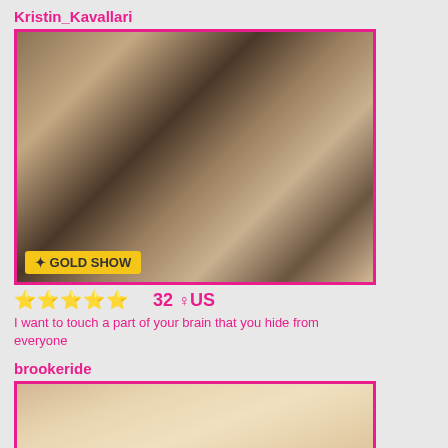Kristin_Kavallari
[Figure (photo): Profile photo of Kristin_Kavallari with GOLD SHOW badge]
⭐⭐⭐⭐⭐  32 ♀ US
I want to touch a part of your brain that you hide from everyone
brookeride
[Figure (photo): Profile photo of brookeride with PARTY CHAT badge]
⭐⭐⭐⭐⭐  38 ♀ US
Lonley Girl Next Door With Not So Usual Kinks ! Need NewFriends
heyitzviolet
[Figure (photo): Partial profile photo of heyitzviolet]